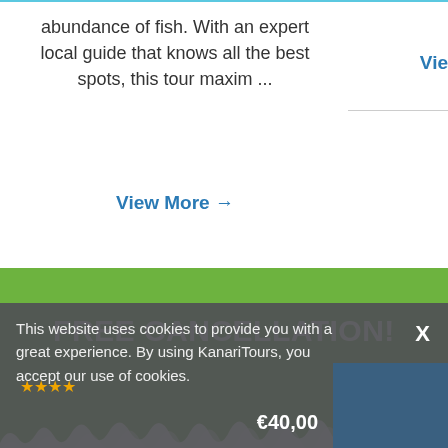abundance of fish. With an expert local guide that knows all the best spots, this tour maxim ...
View More →
Vie
[Figure (infographic): Green banner with white text reading FREE CANCELLATION! with decorative white wavy cloud-like border at the bottom]
This website uses cookies to provide you with a great experience. By using KanariTours, you accept our use of cookies.
€40,00